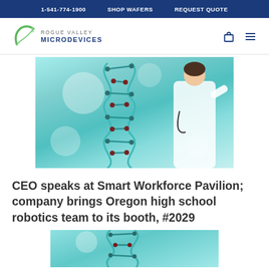1-541-774-1900   SHOP WAFERS   REQUEST QUOTE
[Figure (logo): Rogue Valley Microdevices logo with green arc and figure icon]
[Figure (photo): Hero image showing a DNA double helix structure in teal/cyan tones alongside a female doctor in white lab coat with stethoscope pointing at the helix]
CEO speaks at Smart Workforce Pavilion; company brings Oregon high school robotics team to its booth, #2029
[Figure (photo): Partial bottom image showing teal DNA helix structure, cropped at page bottom]